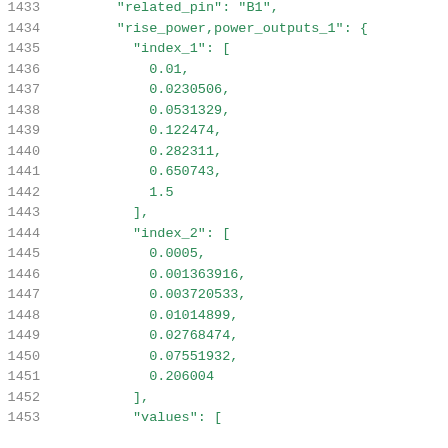1433    "related_pin": "B1",
1434    "rise_power,power_outputs_1": {
1435      "index_1": [
1436        0.01,
1437        0.0230506,
1438        0.0531329,
1439        0.122474,
1440        0.282311,
1441        0.650743,
1442        1.5
1443      ],
1444      "index_2": [
1445        0.0005,
1446        0.001363916,
1447        0.003720533,
1448        0.01014899,
1449        0.02768474,
1450        0.07551932,
1451        0.206004
1452      ],
1453      "values": [